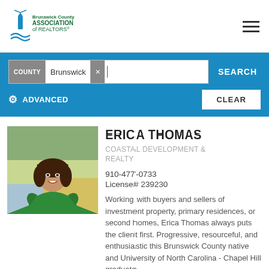Brunswick County Association of Realtors
COUNTY Brunswick × | SEARCH ADVANCED CLEAR
[Figure (photo): Headshot photo of Erica Thomas, a woman with shoulder-length dark hair wearing a green top, smiling outdoors near marsh grass.]
ERICA THOMAS
COASTAL DEVELOPMENT & REALTY
910-477-0733
License# 239230
Working with buyers and sellers of investment property, primary residences, or second homes, Erica Thomas always puts the client first. Progressive, resourceful, and enthusiastic this Brunswick County native and University of North Carolina - Chapel Hill graduate